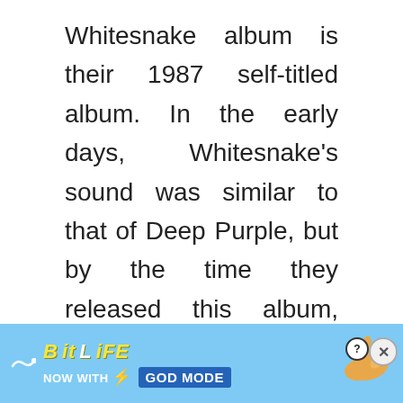Whitesnake album is their 1987 self-titled album. In the early days, Whitesnake's sound was similar to that of Deep Purple, but by the time they released this album, they had begun to develop a sound of their own. One of the album's stand-out features is Sykes' guitar-playing. It was this album that broke Whitesnake to a mainstream market and made them a household name.
[Figure (other): Advertisement banner for BitLife game featuring 'NOW WITH GOD MODE' text, lightning bolt graphic, pointing hand illustration, close button and info button.]